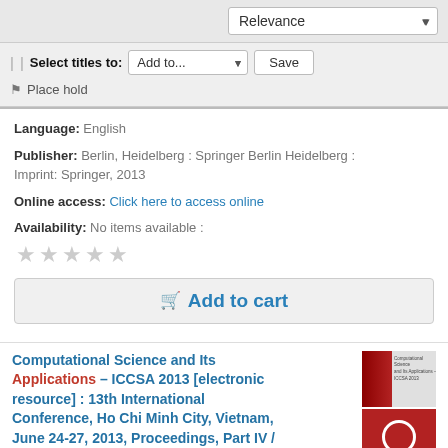[Figure (screenshot): Relevance dropdown selector in top bar]
Select titles to: Add to... Save
Place hold
Language: English
Publisher: Berlin, Heidelberg : Springer Berlin Heidelberg : Imprint: Springer, 2013
Online access: Click here to access online
Availability: No items available :
Add to cart
Computational Science and Its Applications – ICCSA 2013 [electronic resource] : 13th International Conference, Ho Chi Minh City, Vietnam, June 24-27, 2013, Proceedings, Part IV / edited by Beniamino Murgante, Sanjay